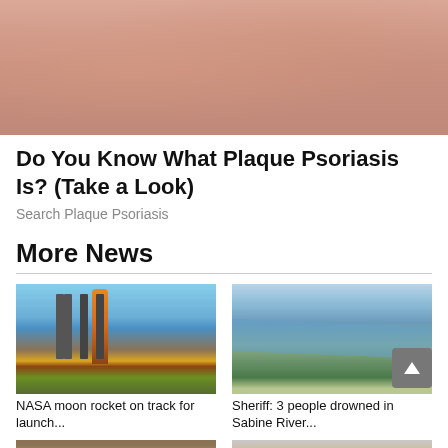[Figure (photo): Close-up photo of human skin with texture, pinkish-brown tones]
Do You Know What Plaque Psoriasis Is? (Take a Look)
Search Plaque Psoriasis
More News
[Figure (photo): NASA moon rocket (SLS) on launch pad with orange fuel tank and steel tower structures, surrounded by yellow flowers]
NASA moon rocket on track for launch...
[Figure (photo): Aerial view of Sabine River with winding waterways, marshland and green vegetation]
Sheriff: 3 people drowned in Sabine River...
[Figure (photo): Partial photo of a person, bottom of page left]
[Figure (photo): Partial photo showing hands or close-up, bottom of page right]